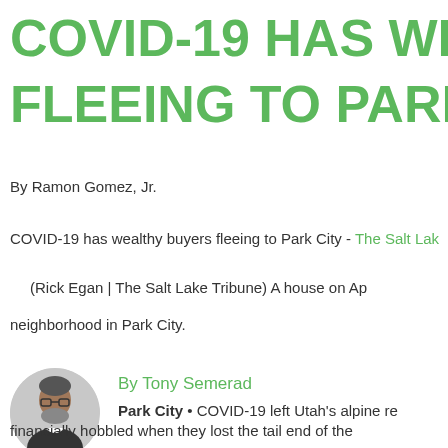COVID-19 HAS WEA... FLEEING TO PARK C...
By Ramon Gomez, Jr.
COVID-19 has wealthy buyers fleeing to Park City - The Salt Lak...
(Rick Egan | The Salt Lake Tribune) A house on Ap... neighborhood in Park City.
[Figure (photo): Headshot photo of Tony Semerad, author]
By Tony Semerad
Park City • COVID-19 left Utah's alpine re... financially hobbled when they lost the tail end of the...
But Park City, Deer Valley and surrounding Summit...